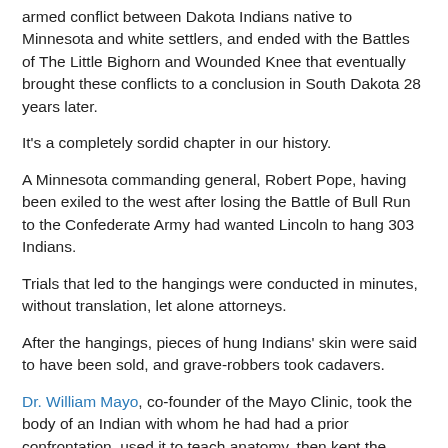armed conflict between Dakota Indians native to Minnesota and white settlers, and ended with the Battles of The Little Bighorn and Wounded Knee that eventually brought these conflicts to a conclusion in South Dakota 28 years later.
It's a completely sordid chapter in our history.
A Minnesota commanding general, Robert Pope, having been exiled to the west after losing the Battle of Bull Run to the Confederate Army had wanted Lincoln to hang 303 Indians.
Trials that led to the hangings were conducted in minutes, without translation, let alone attorneys.
After the hangings, pieces of hung Indians' skin were said to have been sold, and grave-robbers took cadavers.
Dr. William Mayo, co-founder of the Mayo Clinic, took the body of an Indian with whom he had had a prior confrontation, used it to teach anatomy, then kept the skeleton in an iron pot in his office for years.